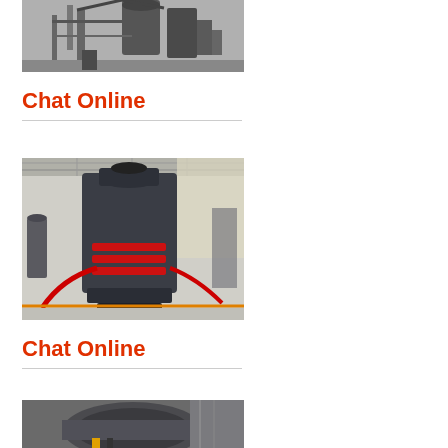[Figure (photo): Industrial facility with large cylindrical mill equipment, pipes, and structures in a factory setting. Black and white tones with metal framework.]
Chat Online
[Figure (photo): Cone crusher or similar heavy industrial crushing machine inside a large factory/warehouse. Machine is dark grey/black with red hydraulic hoses and orange safety markings on floor.]
Chat Online
[Figure (photo): Close-up of industrial grinding or crushing machine component, showing a large cylindrical drum or roller with metal housing.]